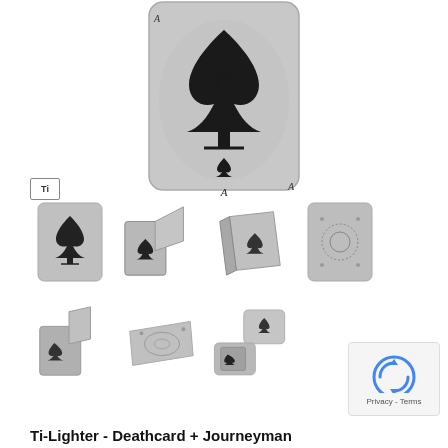[Figure (photo): Large main product photo of a Ti-Lighter Deathcard + Journeyman item — a silver metal card-shaped lighter or case with an engraved Ace of Spades playing card design featuring a skull and decorative swirl patterns]
[Figure (photo): Thumbnail row 1: four small product photos — (1) front face of silver card with spade, (2) open lighter with spade emblem, (3) angled view of card case with spade, (4) back/side view of card case]
[Figure (photo): Thumbnail row 2: three small product photos — (1) angled open lighter, (2) top view of card case, (3) open tin case with lighter inside showing ace of spades design]
Ti-Lighter - Deathcard + Journeyman